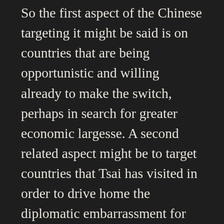So the first aspect of the Chinese targeting it might be said is on countries that are being opportunistic and willing already to make the switch, perhaps in search for greater economic largesse. A second related aspect might be to target countries that Tsai has visited in order to drive home the diplomatic embarrassment for Taiwan.

A third aspect is the economic one. While to a large degree, China's increasing economic heft and reach across the globe is part of an ongoing and even organic process, if one were to take the São Tomé case, it is also